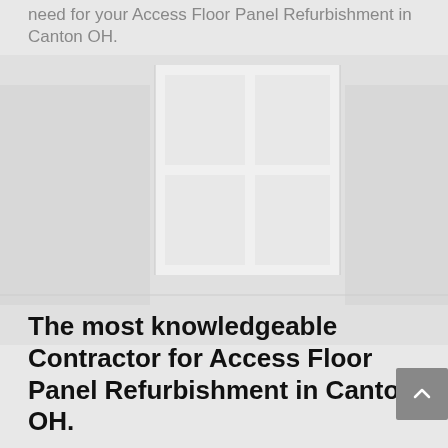need for your Access Floor Panel Refurbishment in Canton OH.
[Figure (photo): Grayscale image showing access floor panels, partially visible at top of page]
The most knowledgeable Contractor for Access Floor Panel Refurbishment in Canton OH.